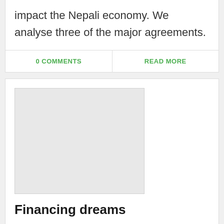impact the Nepali economy. We analyse three of the major agreements.
0 COMMENTS
READ MORE
[Figure (photo): Placeholder image for article about financing dreams]
Financing dreams
Sep 01, 2016  BY  PRATIK SHRESTHA
The Banks' Role in Supporting the Entrepreneurial Ecosystem,